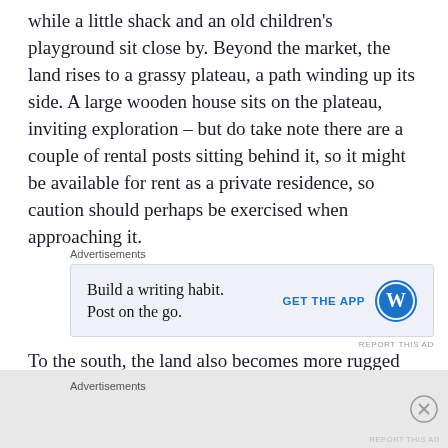while a little shack and an old children's playground sit close by. Beyond the market, the land rises to a grassy plateau, a path winding up its side. A large wooden house sits on the plateau, inviting exploration – but do take note there are a couple of rental posts sitting behind it, so it might be available for rent as a private residence, so caution should perhaps be exercised when approaching it.
[Figure (other): Advertisement banner for WordPress mobile app: 'Build a writing habit. Post on the go.' with GET THE APP button and WordPress logo]
To the south, the land also becomes more rugged with fingers and tables of granite-like rock rising above the
[Figure (other): Second advertisement section label at bottom of page with close button]